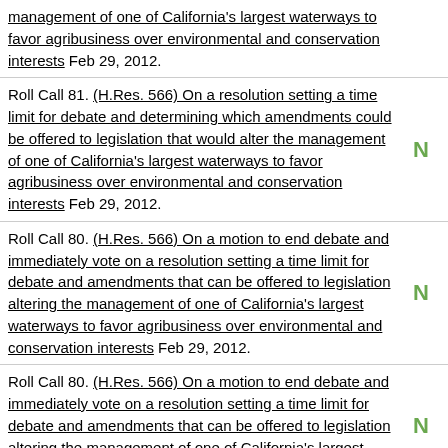management of one of California's largest waterways to favor agribusiness over environmental and conservation interests Feb 29, 2012.
Roll Call 81. (H.Res. 566) On a resolution setting a time limit for debate and determining which amendments could be offered to legislation that would alter the management of one of California's largest waterways to favor agribusiness over environmental and conservation interests Feb 29, 2012. N
Roll Call 80. (H.Res. 566) On a motion to end debate and immediately vote on a resolution setting a time limit for debate and amendments that can be offered to legislation altering the management of one of California's largest waterways to favor agribusiness over environmental and conservation interests Feb 29, 2012. N
Roll Call 80. (H.Res. 566) On a motion to end debate and immediately vote on a resolution setting a time limit for debate and amendments that can be offered to legislation altering the management of one of California's largest waterways to favor agribusiness over N